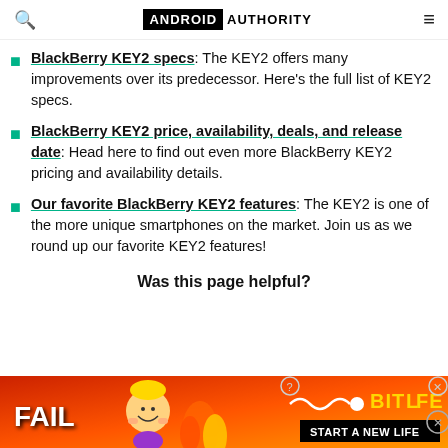Android Authority
BlackBerry KEY2 specs: The KEY2 offers many improvements over its predecessor. Here's the full list of KEY2 specs.
BlackBerry KEY2 price, availability, deals, and release date: Head here to find out even more BlackBerry KEY2 pricing and availability details.
Our favorite BlackBerry KEY2 features: The KEY2 is one of the more unique smartphones on the market. Join us as we round up our favorite KEY2 features!
Was this page helpful?
[Figure (photo): BitLife advertisement banner with 'FAIL' text, cartoon character, flames, and 'START A NEW LIFE' tagline]